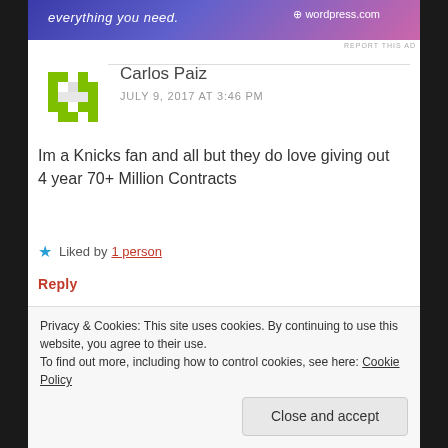[Figure (screenshot): Advertisement banner with gradient background (blue to pink), text 'everything you need.' and a logo on the right]
REPORT THIS AD
Carlos Paiz
JULY 9, 2017 AT 3:46 PM
Im a Knicks fan and all but they do love giving out 4 year 70+ Million Contracts
★ Liked by 1 person
Reply
Privacy & Cookies: This site uses cookies. By continuing to use this website, you agree to their use.
To find out more, including how to control cookies, see here: Cookie Policy
Close and accept